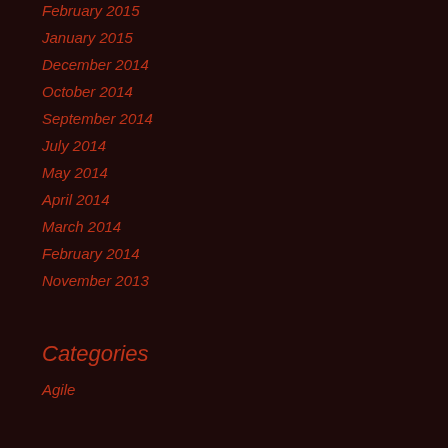February 2015
January 2015
December 2014
October 2014
September 2014
July 2014
May 2014
April 2014
March 2014
February 2014
November 2013
Categories
Agile